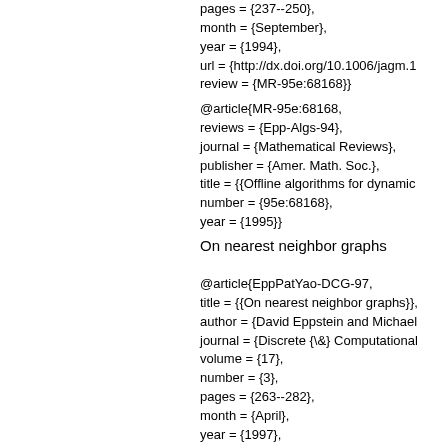pages = {237--250},
month = {September},
year = {1994},
url = {http://dx.doi.org/10.1006/jagm.19
review = {MR-95e:68168}}
@article{MR-95e:68168,
reviews = {Epp-Algs-94},
journal = {Mathematical Reviews},
publisher = {Amer. Math. Soc.},
title = {{Offline algorithms for dynamic
number = {95e:68168},
year = {1995}}
On nearest neighbor graphs
@article{EppPatYao-DCG-97,
title = {{On nearest neighbor graphs}},
author = {David Eppstein and Michael
journal = {Discrete {\&} Computational
volume = {17},
number = {3},
pages = {263--282},
month = {April},
year = {1997},
url = {http://www.ics.uci.edu/~eppstein
review = {MR-98d:05121}}